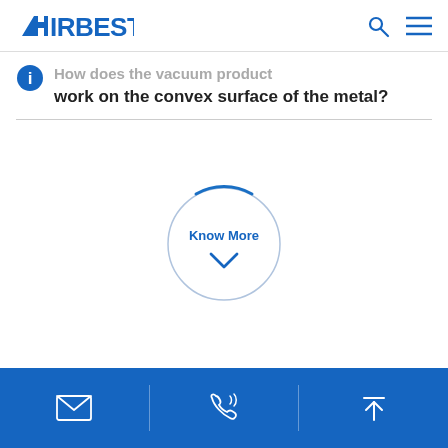AIRBEST
How does the vacuum product work on the convex surface of the metal?
[Figure (other): A circular 'Know More' button with a downward chevron arrow, styled with a blue border arc at the top]
Email | Phone | Back to top icons